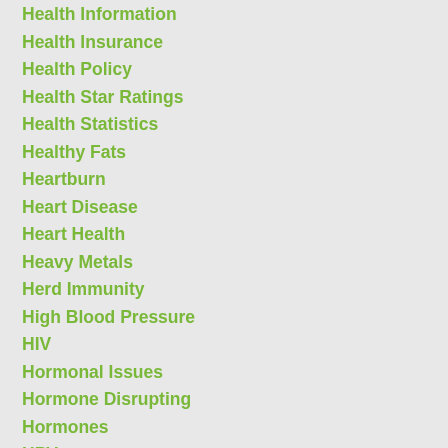Health Information
Health Insurance
Health Policy
Health Star Ratings
Health Statistics
Healthy Fats
Heartburn
Heart Disease
Heart Health
Heavy Metals
Herd Immunity
High Blood Pressure
HIV
Hormonal Issues
Hormone Disrupting
Hormones
HPV
HPV Vaccine
Hydroxychloroquine HCQ